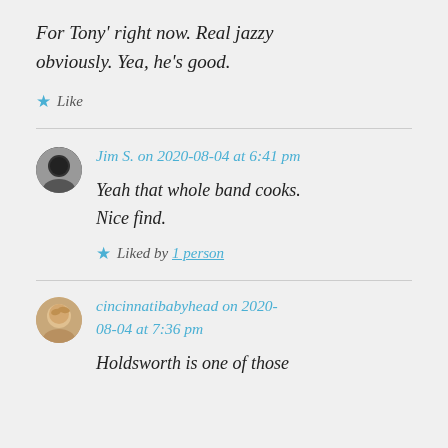For Tony' right now. Real jazzy obviously. Yea, he's good.
Like
Jim S. on 2020-08-04 at 6:41 pm
Yeah that whole band cooks. Nice find.
Liked by 1 person
cincinnatibabyhead on 2020-08-04 at 7:36 pm
Holdsworth is one of those